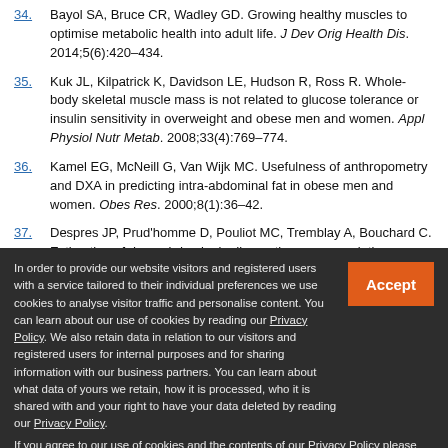34. Bayol SA, Bruce CR, Wadley GD. Growing healthy muscles to optimise metabolic health into adult life. J Dev Orig Health Dis. 2014;5(6):420–434.
35. Kuk JL, Kilpatrick K, Davidson LE, Hudson R, Ross R. Whole-body skeletal muscle mass is not related to glucose tolerance or insulin sensitivity in overweight and obese men and women. Appl Physiol Nutr Metab. 2008;33(4):769–774.
36. Kamel EG, McNeill G, Van Wijk MC. Usefulness of anthropometry and DXA in predicting intra-abdominal fat in obese men and women. Obes Res. 2000;8(1):36–42.
37. Despres JP, Prud'homme D, Pouliot MC, Tremblay A, Bouchard C. Estimation of deep abdominal adipose-tissue accumulation
In order to provide our website visitors and registered users with a service tailored to their individual preferences we use cookies to analyse visitor traffic and personalise content. You can learn about our use of cookies by reading our Privacy Policy. We also retain data in relation to our visitors and registered users for internal purposes and for sharing information with our business partners. You can learn about what data of yours we retain, how it is processed, who it is shared with and your right to have your data deleted by reading our Privacy Policy.

If you agree to our use of cookies and the contents of our Privacy Policy please click 'accept'.